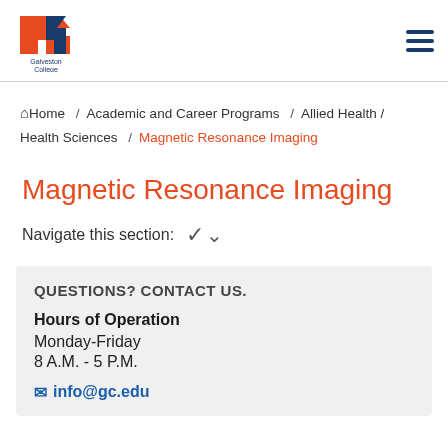Galveston College logo and navigation menu
Home / Academic and Career Programs / Allied Health / Health Sciences / Magnetic Resonance Imaging
Magnetic Resonance Imaging
Navigate this section:
QUESTIONS? CONTACT US.
Hours of Operation
Monday-Friday
8 A.M. - 5 P.M.
info@gc.edu